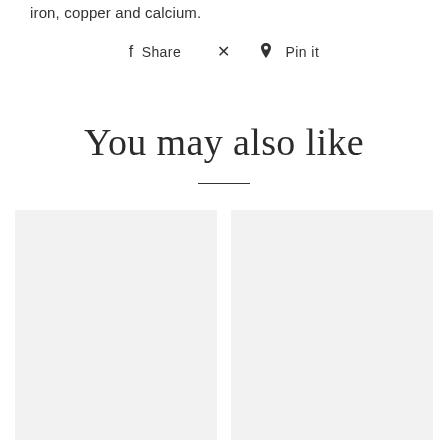iron, copper and calcium.
f Share    Pin it
You may also like
[Figure (other): Two light gray placeholder image boxes side by side, representing product images in a 'You may also like' section]